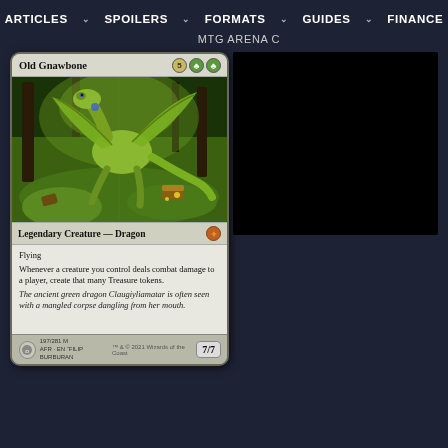ARTICLES ∨   SPOILERS ∨   FORMATS ∨   GUIDES ∨   FINANCE
MTG ARENA C
[Figure (illustration): Magic: The Gathering card 'Old Gnawbone' - Legendary Creature Dragon with cost 5GG, 7/7 stats, Flying ability, Whenever a creature you control deals combat damage to a player, create that many Treasure tokens. Art shows a green dragon in a forest. Set AFR 197/281 by Filip Burburan. Partially obscured by black overlay on right side of page.]